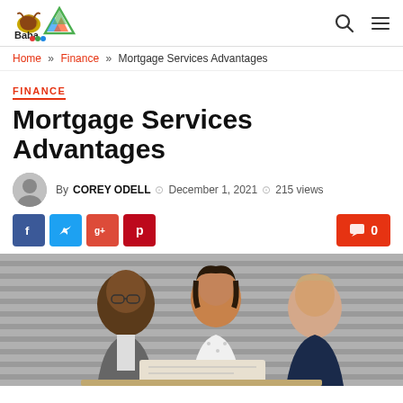Baba Trading — site header with logo, search and menu icons
Home » Finance » Mortgage Services Advantages
FINANCE
Mortgage Services Advantages
By COREY ODELL  December 1, 2021  215 views
[Figure (other): Social share buttons: Facebook (blue), Twitter (light blue), Google+ (red-orange), Pinterest (dark red); and a comment button showing 0 comments on the right]
[Figure (photo): Three people — two men and a woman — sitting together looking at a document or screen, appearing to be in a financial consultation or meeting]